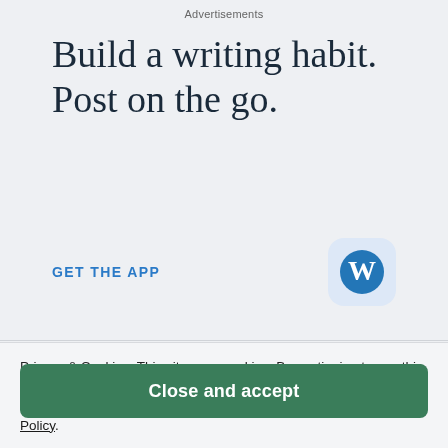Advertisements
Build a writing habit. Post on the go.
GET THE APP
[Figure (logo): WordPress app icon: blue circle with white W on light blue rounded square background]
Privacy & Cookies: This site uses cookies. By continuing to use this website, you agree to their use.
To find out more, including how to control cookies, see here: Cookie Policy
Close and accept